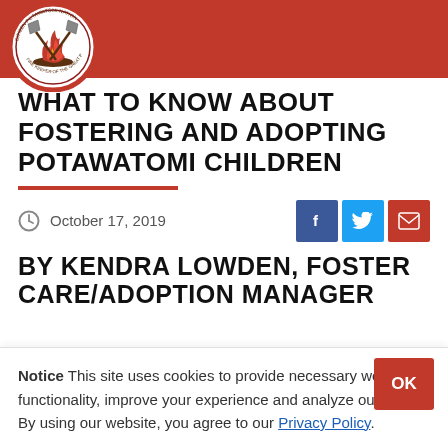[Figure (logo): Circular tribal seal/logo with red border, crossed axes and fire imagery, on a red banner header]
WHAT TO KNOW ABOUT FOSTERING AND ADOPTING POTAWATOMI CHILDREN
October 17, 2019
BY KENDRA LOWDEN, FOSTER CARE/ADOPTION MANAGER
Notice This site uses cookies to provide necessary website functionality, improve your experience and analyze our traffic. By using our website, you agree to our Privacy Policy.